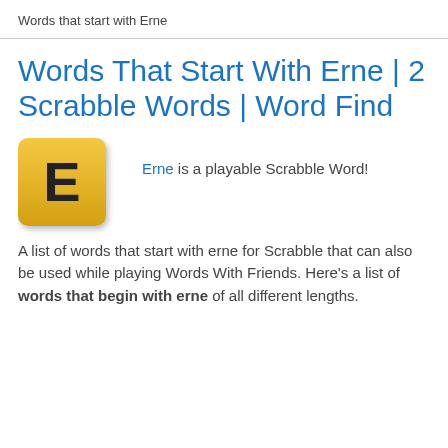Words that start with Erne
Words That Start With Erne | 2 Scrabble Words | Word Find
[Figure (illustration): Yellow Scrabble tile with letter E]
Erne is a playable Scrabble Word!
A list of words that start with erne for Scrabble that can also be used while playing Words With Friends. Here's a list of words that begin with erne of all different lengths.